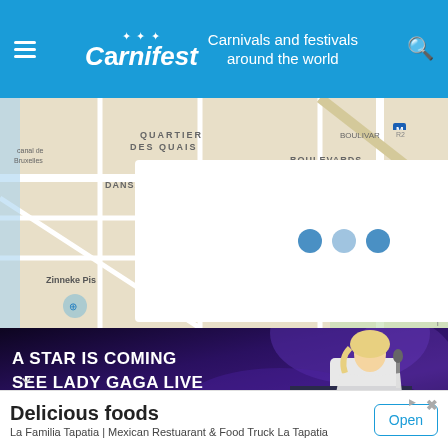Carnifest – Carnivals and festivals around the world
[Figure (map): Street map of Brussels city center showing quartier des Quais, Boulevards du Centre, Dansaert, Zinneke Pis, Rue Royale areas with a white loading overlay panel showing three dots (loading indicator)]
[Figure (photo): Advertisement banner: 'A STAR IS COMING SEE LADY GAGA LIVE' with a blonde woman in white at a piano/microphone on a purple-lit stage]
Delicious foods
La Familia Tapatia | Mexican Restuarant & Food Truck La Tapatia
Open